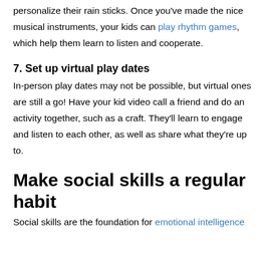personalize their rain sticks. Once you've made the nice musical instruments, your kids can play rhythm games, which help them learn to listen and cooperate.
7. Set up virtual play dates
In-person play dates may not be possible, but virtual ones are still a go! Have your kid video call a friend and do an activity together, such as a craft. They'll learn to engage and listen to each other, as well as share what they're up to.
Make social skills a regular habit
Social skills are the foundation for emotional intelligence